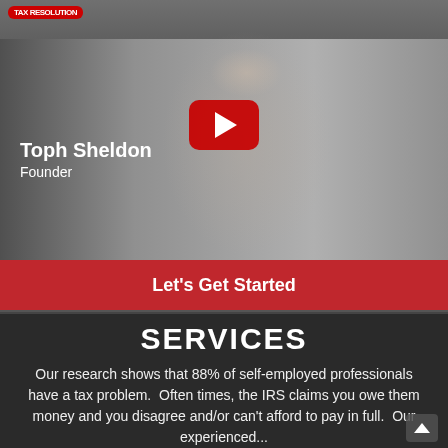[Figure (screenshot): YouTube video thumbnail showing Toph Sheldon, Founder, sitting at a desk with shelves behind him. A red YouTube play button is overlaid in the center. Text overlay reads 'Toph Sheldon Founder'.]
Let's Get Started
SERVICES
Our research shows that 88% of self-employed professionals have a tax problem.  Often times, the IRS claims you owe them money and you disagree and/or can't afford to pay in full.  Our experienced...